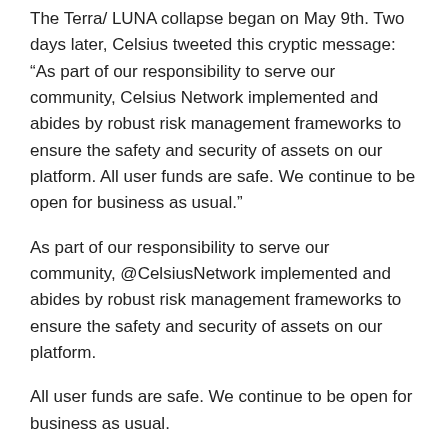The Terra/ LUNA collapse began on May 9th. Two days later, Celsius tweeted this cryptic message: “As part of our responsibility to serve our community, Celsius Network implemented and abides by robust risk management frameworks to ensure the safety and security of assets on our platform. All user funds are safe. We continue to be open for business as usual.”
As part of our responsibility to serve our community, @CelsiusNetwork implemented and abides by robust risk management frameworks to ensure the safety and security of assets on our platform.
All user funds are safe. We continue to be open for business as usual.
— Celsius (@CelsiusNetwork) May 11, 2022
What did Celsius mean? The circumstances forced them to